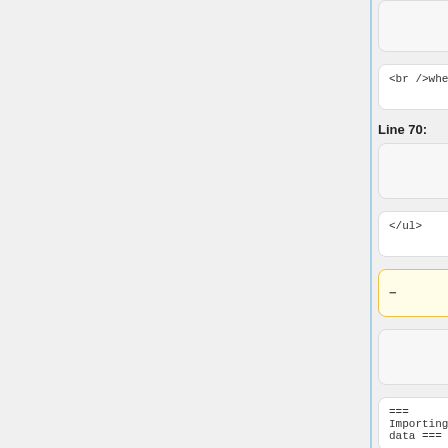<br />where:
<br />where:
Line 70:
Line 85:
</ul>
</ul>
-
===
Importing
data ===
===
Importing
data ===
Line 100:
Line 114:
===
Deriving
Physical
Quantities
===
Deriving
Physical
Quantities